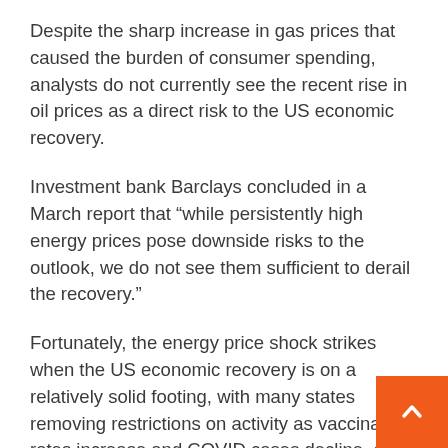Despite the sharp increase in gas prices that caused the burden of consumer spending, analysts do not currently see the recent rise in oil prices as a direct risk to the US economic recovery.
Investment bank Barclays concluded in a March report that “while persistently high energy prices pose downside risks to the outlook, we do not see them sufficient to derail the recovery.”
Fortunately, the energy price shock strikes when the US economic recovery is on a relatively solid footing, with many states removing restrictions on activity as vaccination rates increase and COVID cases decline, and labor markets have demonstrated remarkable resilience in the face of delta and Omicron variabl… Economists wrote.